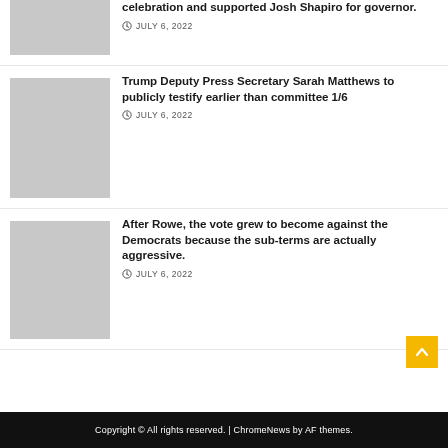[Figure (photo): Thumbnail image placeholder for first article (partially visible, cropped at top)]
celebration and supported Josh Shapiro for governor.
JULY 6, 2022
[Figure (photo): Thumbnail image placeholder for second article]
Trump Deputy Press Secretary Sarah Matthews to publicly testify earlier than committee 1/6
JULY 6, 2022
[Figure (photo): Thumbnail image placeholder for third article]
After Rowe, the vote grew to become against the Democrats because the sub-terms are actually aggressive.
JULY 6, 2022
Copyright © All rights reserved. | ChromeNews by AF themes.